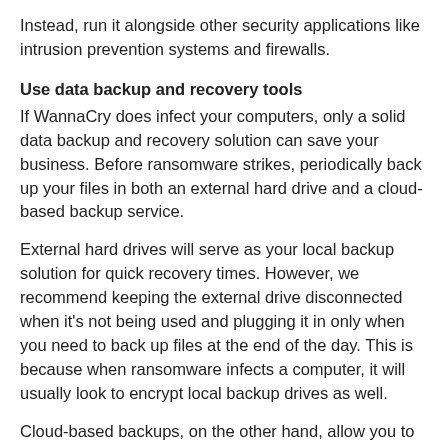Instead, run it alongside other security applications like intrusion prevention systems and firewalls.
Use data backup and recovery tools
If WannaCry does infect your computers, only a solid data backup and recovery solution can save your business. Before ransomware strikes, periodically back up your files in both an external hard drive and a cloud-based backup service.
External hard drives will serve as your local backup solution for quick recovery times. However, we recommend keeping the external drive disconnected when it’s not being used and plugging it in only when you need to back up files at the end of the day. This is because when ransomware infects a computer, it will usually look to encrypt local backup drives as well.
Cloud-based backups, on the other hand, allow you to store files in remote data centers and access them from any internet-enabled device. When selecting a cloud services provider, make sure they provide the appropriate cloud protections to your files. For example, your backup vendor should provide reporting tools to keep track of any anomalies in your files. Document versioning